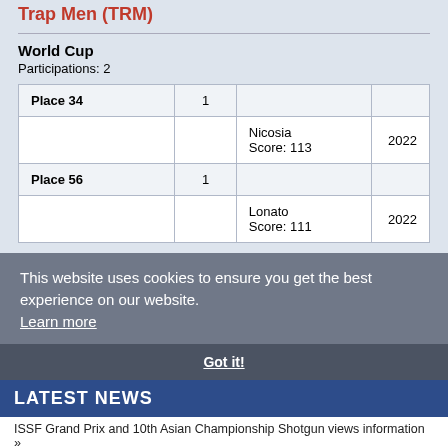Trap Men (TRM)
World Cup
Participations: 2
|  |  |  |  |
| --- | --- | --- | --- |
| Place 34 | 1 |  |  |
|  |  | Nicosia
Score: 113 | 2022 |
| Place 56 | 1 |  |  |
|  |  | Lonato
Score: 111 | 2022 |
This website uses cookies to ensure you get the best experience on our website.
Learn more
LATEST NEWS
ISSF Grand Prix and 10th Asian Championship Shotgun views information »
Ukraine wins at the World Championship Running Target in France »
Team of Kazakhstan wins the last final in Almaty! »
Kuwait and China take Gold in Kazakhstan »
Four medals for Kazakhstan! »